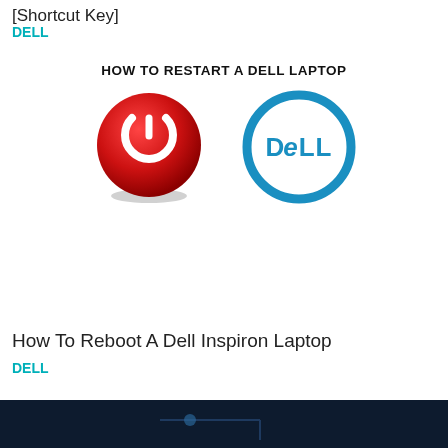How To Remove Scroll Lock In Dell Laptop [Shortcut Key]
DELL
[Figure (illustration): Illustration showing a red power button icon on the left and the Dell logo (blue circle with DELL text) on the right, above the text HOW TO RESTART A DELL LAPTOP]
How To Reboot A Dell Inspiron Laptop
DELL
[Figure (screenshot): Dark blue background partial screenshot showing a network or diagram graphic at the bottom of the page]